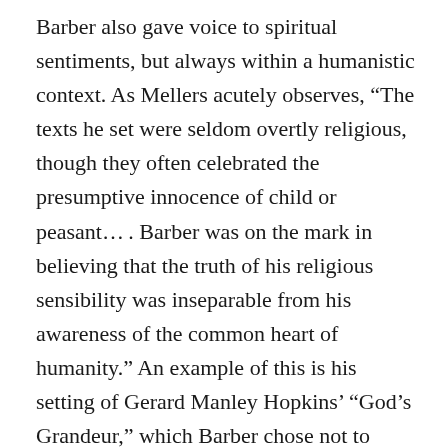Barber also gave voice to spiritual sentiments, but always within a humanistic context. As Mellers acutely observes, “The texts he set were seldom overtly religious, though they often celebrated the presumptive innocence of child or peasant… . Barber was on the mark in believing that the truth of his religious sensibility was inseparable from his awareness of the common heart of humanity.” An example of this is his setting of Gerard Manley Hopkins’ “God’s Grandeur,” which Barber chose not to include among his numbered works. Written at about the same time as the three Reincarnations, it contains a musical device that also appears in “Anthony O’Daly.” Although not without its magical moments, God’s Grandeur does not impress me as